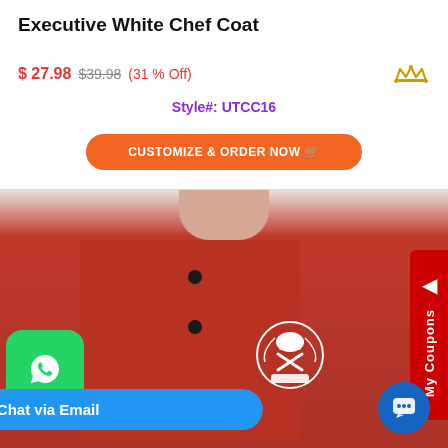Executive White Chef Coat
$ 27.98  $39.98  (31 % Off)
Style#: UTCC16
CUSTOMIZE & ORDER NOW
[Figure (photo): Man wearing a red executive chef coat with black buttons and a white chef logo emblem on the left chest. Green WhatsApp button on the left. Red 'My Coupons' tab on the right. Blue 'Chat via Email' button at the bottom.]